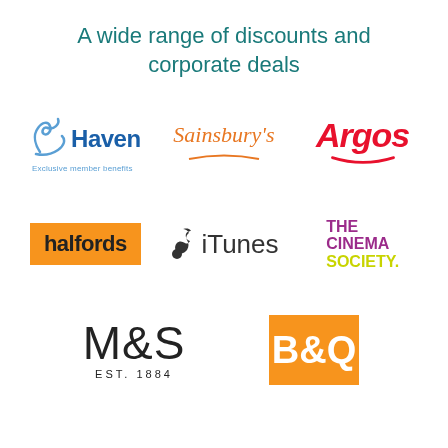A wide range of discounts and corporate deals
[Figure (logo): Haven logo with swirl graphic and text 'Exclusive member benefits']
[Figure (logo): Sainsbury's logo in orange italic script with swoosh underline]
[Figure (logo): Argos logo in red bold italic with red swoosh underline]
[Figure (logo): halfords logo: white bold text on orange rectangle background]
[Figure (logo): Apple iTunes logo: Apple icon and iTunes text in dark grey]
[Figure (logo): The Cinema Society logo: THE and CINEMA in purple, SOCIETY. in yellow-green]
[Figure (logo): M&S logo: large thin sans-serif letters with EST. 1884 beneath]
[Figure (logo): B&Q logo: white bold text on orange square background (partially visible)]